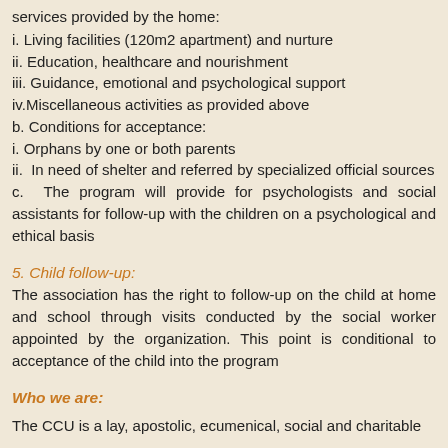services provided by the home:
i. Living facilities (120m2 apartment) and nurture
ii. Education, healthcare and nourishment
iii. Guidance, emotional and psychological support
iv.Miscellaneous activities as provided above
b. Conditions for acceptance:
i. Orphans by one or both parents
ii. In need of shelter and referred by specialized official sources
c. The program will provide for psychologists and social assistants for follow-up with the children on a psychological and ethical basis
5. Child follow-up:
The association has the right to follow-up on the child at home and school through visits conducted by the social worker appointed by the organization. This point is conditional to acceptance of the child into the program
Who we are:
The CCU is a lay, apostolic, ecumenical, social and charitable movement, free from any religious or political affiliation.